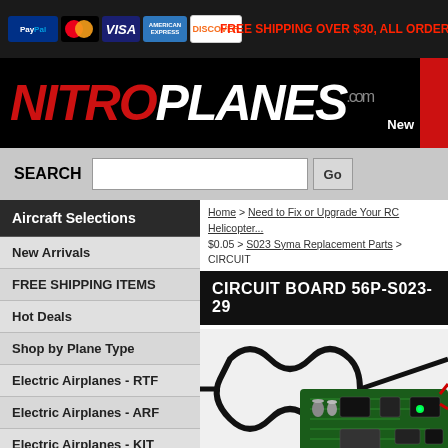[Figure (screenshot): Payment method icons: PayPal, MasterCard, Visa, American Express, Discover]
FREE SHIPPING OVER $30, ALL ORDERS SHIPP...
[Figure (logo): NitroPlanes.com logo in red and white on black background]
New
SEARCH [input field] Go
Aircraft Selections
New Arrivals
FREE SHIPPING ITEMS
Hot Deals
Shop by Plane Type
Electric Airplanes - RTF
Electric Airplanes - ARF
Electric Airplanes - KIT
Nitro Gas RC Planes
RC UAV & Drones
Home > Need to Fix or Upgrade Your RC Helicopter... $0.05 > S023 Syma Replacement Parts > CIRCUIT
CIRCUIT BOARD 56P-S023-29
[Figure (photo): Photo of a green circuit board (56P-S023-29) with black wires and red wires attached]